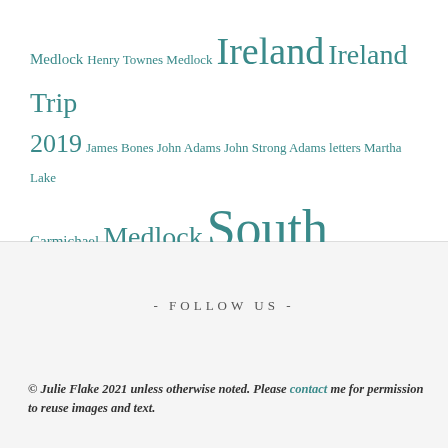Medlock Henry Townes Medlock Ireland Ireland Trip 2019 James Bones John Adams John Strong Adams letters Martha Lake Carmichael Medlock South Carolina
- FOLLOW US -
© Julie Flake 2021 unless otherwise noted. Please contact me for permission to reuse images and text.